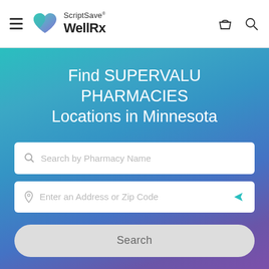[Figure (screenshot): ScriptSave WellRx website header with hamburger menu, logo (teal/purple heart icon with 'ScriptSave WellRx' text), basket icon, and search icon on white navigation bar]
Find SUPERVALU PHARMACIES Locations in Minnesota
[Figure (screenshot): Search input field with magnifying glass icon and placeholder text 'Search by Pharmacy Name']
[Figure (screenshot): Address input field with location pin icon, placeholder text 'Enter an Address or Zip Code', and teal arrow navigation icon]
[Figure (screenshot): Gray rounded Search button]